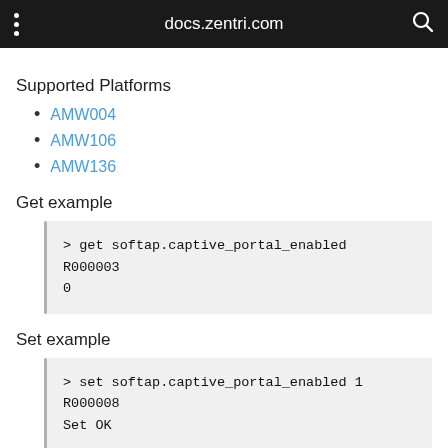docs.zentri.com
Supported Platforms
AMW004
AMW106
AMW136
Get example
> get softap.captive_portal_enabled
R000003
0
Set example
> set softap.captive_portal_enabled 1
R000008
Set OK